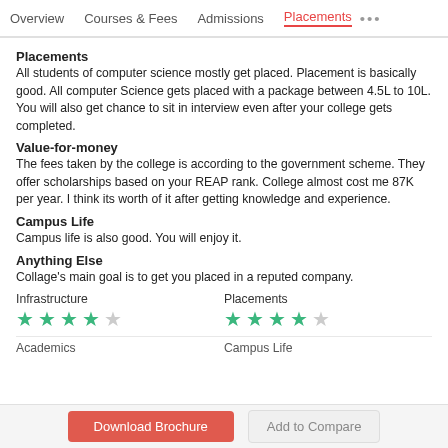Overview   Courses & Fees   Admissions   Placements   •••
Placements
All students of computer science mostly get placed. Placement is basically good. All computer Science gets placed with a package between 4.5L to 10L. You will also get chance to sit in interview even after your college gets completed.
Value-for-money
The fees taken by the college is according to the government scheme. They offer scholarships based on your REAP rank. College almost cost me 87K per year. I think its worth of it after getting knowledge and experience.
Campus Life
Campus life is also good. You will enjoy it.
Anything Else
Collage's main goal is to get you placed in a reputed company.
Infrastructure ★★★★☆ (4/5)
Placements ★★★★☆ (4/5)
Academics
Campus Life
Download Brochure   Add to Compare